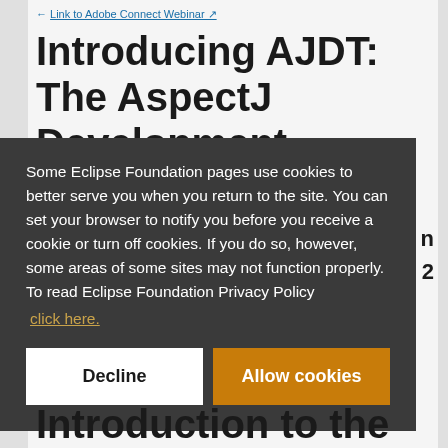Link to Adobe Connect Webinar ↗
Introducing AJDT: The AspectJ Development
Some Eclipse Foundation pages use cookies to better serve you when you return to the site. You can set your browser to notify you before you receive a cookie or turn off cookies. If you do so, however, some areas of some sites may not function properly. To read Eclipse Foundation Privacy Policy click here.
Decline
Allow cookies
Introduction to the